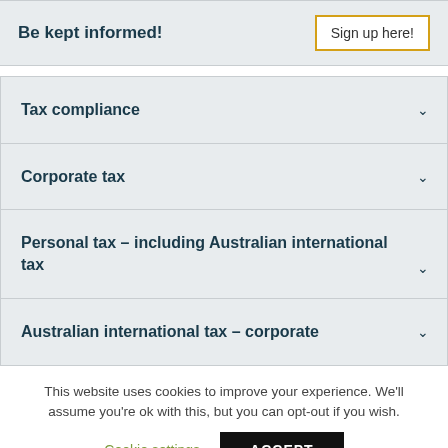Be kept informed!
Sign up here!
Tax compliance
Corporate tax
Personal tax – including Australian international tax
Australian international tax – corporate
This website uses cookies to improve your experience. We'll assume you're ok with this, but you can opt-out if you wish.
Cookie settings
ACCEPT